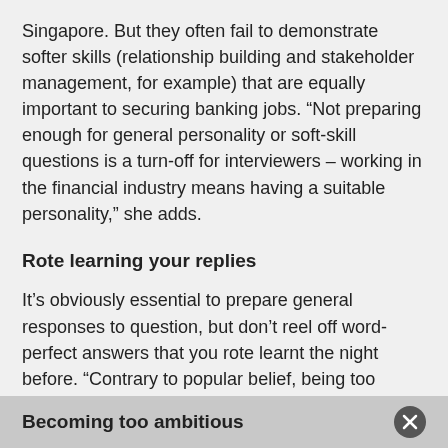Singapore. But they often fail to demonstrate softer skills (relationship building and stakeholder management, for example) that are equally important to securing banking jobs. “Not preparing enough for general personality or soft-skill questions is a turn-off for interviewers – working in the financial industry means having a suitable personality,” she adds.
Rote learning your replies
It’s obviously essential to prepare general responses to question, but don’t reel off word-perfect answers that you rote learnt the night before. “Contrary to popular belief, being too prepared for a banking interview may actually be a mistake,” says Yap. “Many junior Asian candidates memorise their answers, but interviewers often feel these sound too template-like and lack a personal touch.”
Becoming too ambitious